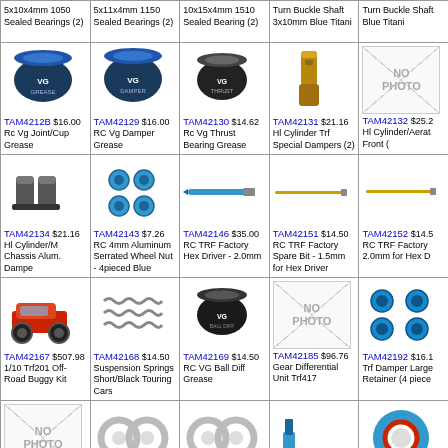| 5x10x4mm 1050 Sealed Bearings (2) | 5x11x4mm 1150 Sealed Bearings (2) | 10x15x4mm 1510 Sealed Bearing (2) | Turn Buckle Shaft 3x10mm Blue Titani | Turn Buckle Shaft Blue Titani |
| TAM4212B $16.00 Rc Vg Joint/Cup Grease | TAM42129 $16.00 RC Vg Damper Grease | TAM42130 $14.62 Rc Vg Thrust Bearing Grease | TAM42131 $21.16 Hl Cylinder Trf Special Dampers (2) | TAM42132 $25.2 Hl Cylinder/Aerat Front ( |
| TAM42134 $21.16 Hl Cylinder/M Chassis Alum. Dampe | TAM42143 $7.26 RC 4mm Aluminum Serrated Wheel Nut - 4pieced Blue | TAM42146 $35.00 RC TRF Factory Hex Driver - 2.0mm | TAM42151 $14.50 RC TRF Factory Spare Bit - 1.5mm for Hex Driver | TAM42152 $14.5 RC TRF Factory 2.0mm for Hex D |
| TAM42167 $507.98 1/10 Trf201 Off-Road Buggy Kit | TAM42168 $14.50 Suspension Springs Short/Black Touring Cars | TAM42169 $14.50 RC VG Ball Diff Grease | TAM42185 $96.76 Gear Differential Unit Trf417 | TAM42192 $16.1 Trf Damper Large Retainer (4 piece |
| TAM42194 $24.70 Ceramic Differential Ball 3/32 (12) | TAM42195 $10.08 1060 Ball Bearing (Fluorine Coated) (2 pieces) | TAM42196 $11.08 1280 Ball Bearing (Fluorine Coated) (2 pieces) | TAM42199 $53.42 Ground Clearance Gauge For Off Road Car | TAM42201 $29.6 Glass Tape 15mm |